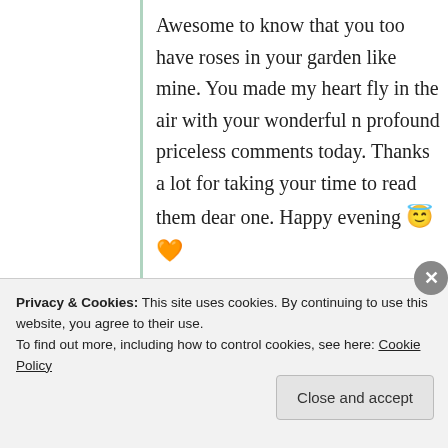Awesome to know that you too have roses in your garden like mine. You made my heart fly in the air with your wonderful n profound priceless comments today. Thanks a lot for taking your time to read them dear one. Happy evening 😇🧡
★ Like
Log in to Reply
Advertisements
Privacy & Cookies: This site uses cookies. By continuing to use this website, you agree to their use.
To find out more, including how to control cookies, see here: Cookie Policy